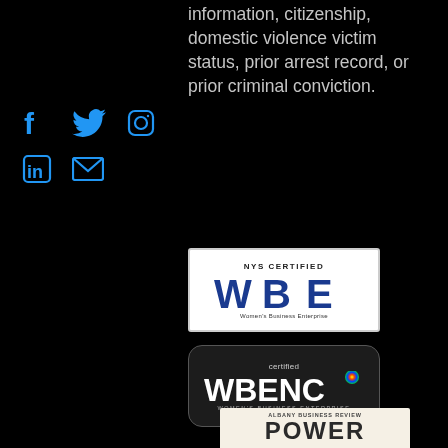information, citizenship, domestic violence victim status, prior arrest record, or prior criminal conviction.
[Figure (infographic): Social media icons: Facebook, Twitter, Instagram, LinkedIn, Email — all in blue on black background]
[Figure (logo): NYS Certified WBE Women's Business Enterprise badge — white background with blue WBE logo]
[Figure (logo): Certified WBENC Women's Business Enterprise badge — dark rounded rectangle with white text and colorful dot]
[Figure (logo): Albany Business Review Power 50 badge — beige background with POWER and golden 50]